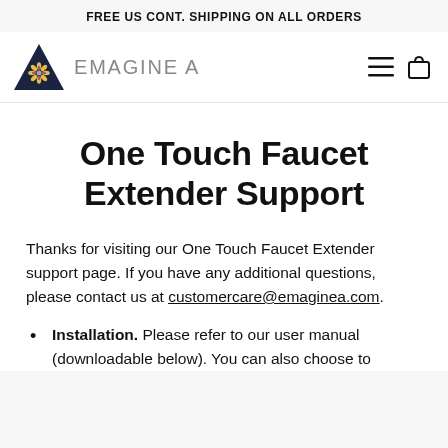FREE US CONT. SHIPPING ON ALL ORDERS
[Figure (logo): Emagine A logo: dark navy triangle with decorative medallion, and grey text EMAGINE A]
One Touch Faucet Extender Support
Thanks for visiting our One Touch Faucet Extender support page. If you have any additional questions, please contact us at customercare@emaginea.com.
Installation. Please refer to our user manual (downloadable below). You can also choose to